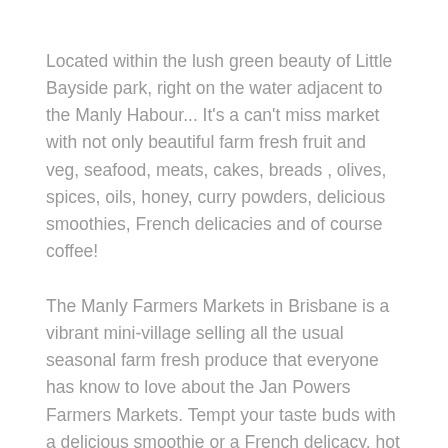Located within the lush green beauty of Little Bayside park, right on the water adjacent to the Manly Habour... It's a can't miss market with not only beautiful farm fresh fruit and veg, seafood, meats, cakes, breads , olives, spices, oils, honey, curry powders, delicious smoothies, French delicacies and of course coffee!
The Manly Farmers Markets in Brisbane is a vibrant mini-village selling all the usual seasonal farm fresh produce that everyone has know to love about the Jan Powers Farmers Markets. Tempt your taste buds with a delicious smoothie or a French delicacy, hot coffee. The Manly markets are a feast to cover all your senses.
All of our stall holders are keen to share their knowledge on how to best look after, prepare, cook and present their products. So bring the family, friends and enjoy a beautiful